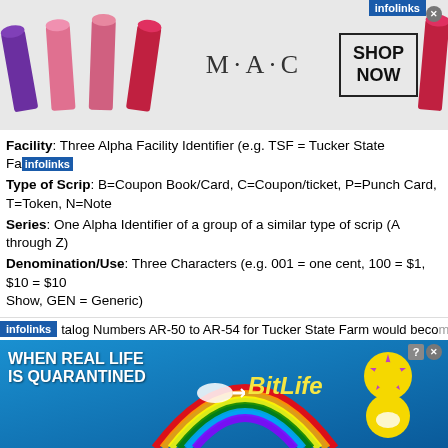[Figure (illustration): MAC cosmetics advertisement banner with lipsticks and SHOP NOW box]
Facility: Three Alpha Facility Identifier (e.g. TSF = Tucker State Farm)
Type of Scrip: B=Coupon Book/Card, C=Coupon/ticket, P=Punch Card, T=Token, N=Note
Series: One Alpha Identifier of a group of a similar type of scrip (A through Z)
Denomination/Use: Three Characters (e.g. 001 = one cent, 100 = $1, $10 = $10 Show, GEN = Generic)
Subtype: One lower case alpha to identify die variations within a type.
While this approach may seem cumbersome, I believe it provides the necessary current and future prison money types.
Some examples:
[Figure (screenshot): Infolinks ad bar and BitLife advertisement banner at bottom of page]